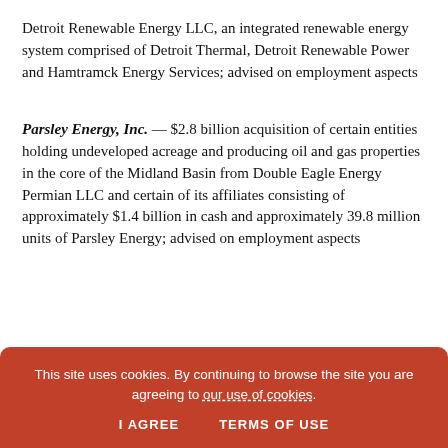Detroit Renewable Energy LLC, an integrated renewable energy system comprised of Detroit Thermal, Detroit Renewable Power and Hamtramck Energy Services; advised on employment aspects
Parsley Energy, Inc. — $2.8 billion acquisition of certain entities holding undeveloped acreage and producing oil and gas properties in the core of the Midland Basin from Double Eagle Energy Permian LLC and certain of its affiliates consisting of approximately $1.4 billion in cash and approximately 39.8 million units of Parsley Energy; advised on employment aspects
This site uses cookies. By continuing to browse the site you are agreeing to our use of cookies. I AGREE   TERMS OF USE